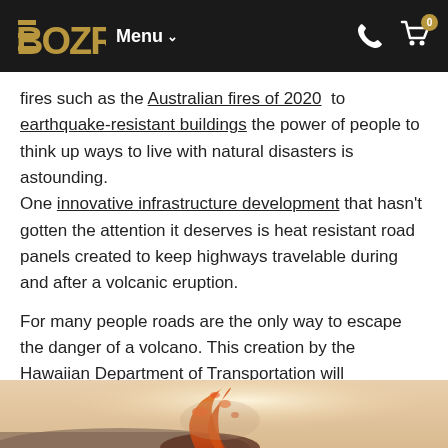BOZR  Menu  [phone icon] [cart icon: 0]
fires such as the Australian fires of 2020 to earthquake-resistant buildings the power of people to think up ways to live with natural disasters is astounding.
One innovative infrastructure development that hasn't gotten the attention it deserves is heat resistant road panels created to keep highways travelable during and after a volcanic eruption.
For many people roads are the only way to escape the danger of a volcano. This creation by the Hawaiian Department of Transportation will undoubtedly keep people safe while reducing post-eruption infrastructure repair costs.
[Figure (photo): Partial image of a volcanic eruption scene with orange/red lava or fire visible against a hazy background]